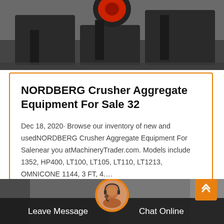[Figure (photo): Industrial crusher/aggregate equipment shown in black metal frame with red circular element, photographed in warehouse setting]
NORDBERG Crusher Aggregate Equipment For Sale 32
Dec 18, 2020· Browse our inventory of new and usedNORDBERG Crusher Aggregate Equipment For Salenear you atMachineryTrader.com. Models include 1352, HP400, LT100, LT105, LT110, LT1213, OMNICONE 1144, 3 FT, 4….
[Figure (photo): Bottom section showing industrial facility background with customer service representative avatar and Leave Message / Chat Online footer bar]